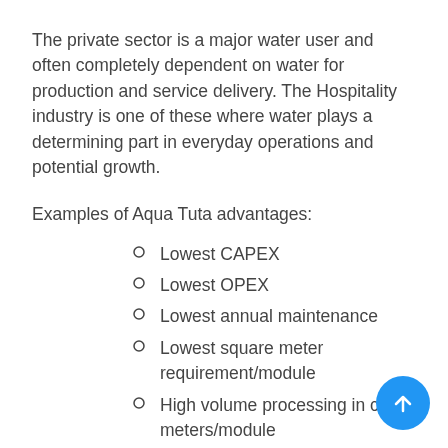The private sector is a major water user and often completely dependent on water for production and service delivery. The Hospitality industry is one of these where water plays a determining part in everyday operations and potential growth.
Examples of Aqua Tuta advantages:
Lowest CAPEX
Lowest OPEX
Lowest annual maintenance
Lowest square meter requirement/module
High volume processing in cubic meters/module
Fastest effluent processing time.
Automatic separation of organic matter